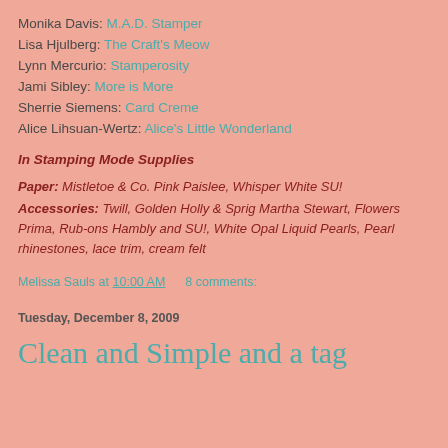Monika Davis: M.A.D. Stamper
Lisa Hjulberg: The Craft's Meow
Lynn Mercurio: Stamperosity
Jami Sibley: More is More
Sherrie Siemens: Card Creme
Alice Lihsuan-Wertz: Alice's Little Wonderland
In Stamping Mode Supplies
Paper: Mistletoe & Co. Pink Paislee, Whisper White SU!
Accessories: Twill, Golden Holly & Sprig Martha Stewart, Flowers Prima, Rub-ons Hambly and SU!, White Opal Liquid Pearls, Pearl rhinestones, lace trim, cream felt
Melissa Sauls at 10:00 AM    8 comments:
Tuesday, December 8, 2009
Clean and Simple and a tag